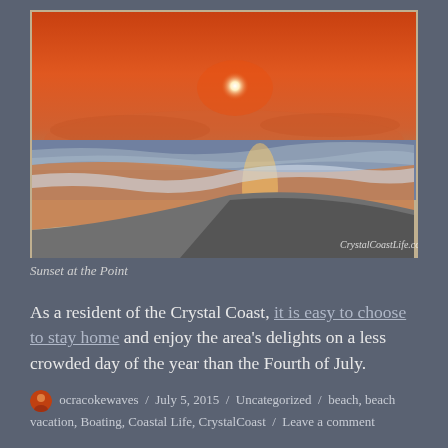[Figure (photo): Sunset at the beach/point with orange sky, sun reflecting on wet sand and gentle waves. Watermark reads CrystalCoastLife.com]
Sunset at the Point
As a resident of the Crystal Coast, it is easy to choose to stay home and enjoy the area's delights on a less crowded day of the year than the Fourth of July.
ocracokewaves / July 5, 2015 / Uncategorized / beach, beach vacation, Boating, Coastal Life, CrystalCoast / Leave a comment